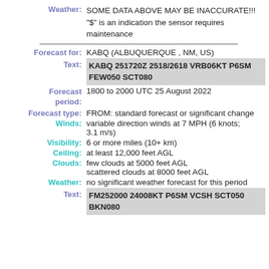Weather: SOME DATA ABOVE MAY BE INACCURATE!!! "$" is an indication the sensor requires maintenance
Forecast for: KABQ (ALBUQUERQUE , NM, US)
Text: KABQ 251720Z 2518/2618 VRB06KT P6SM FEW050 SCT080
Forecast period: 1800 to 2000 UTC 25 August 2022
Forecast type: FROM: standard forecast or significant change
Winds: variable direction winds at 7 MPH (6 knots; 3.1 m/s)
Visibility: 6 or more miles (10+ km)
Ceiling: at least 12,000 feet AGL
Clouds: few clouds at 5000 feet AGL scattered clouds at 8000 feet AGL
Weather: no significant weather forecast for this period
Text: FM252000 24008KT P6SM VCSH SCT050 BKN080